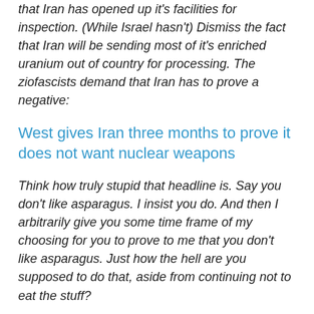that Iran has opened up it's facilities for inspection. (While Israel hasn't) Dismiss the fact that Iran will be sending most of it's enriched uranium out of country for processing. The ziofascists demand that Iran has to prove a negative:
West gives Iran three months to prove it does not want nuclear weapons
Think how truly stupid that headline is. Say you don't like asparagus. I insist you do. And then I arbitrarily give you some time frame of my choosing for you to prove to me that you don't like asparagus. Just how the hell are you supposed to do that, aside from continuing not to eat the stuff?
I really love the asparagus analogy.